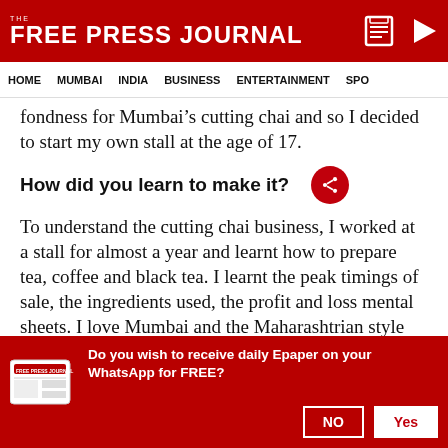THE FREE PRESS JOURNAL
HOME   MUMBAI   INDIA   BUSINESS   ENTERTAINMENT   SPO
fondness for Mumbai’s cutting chai and so I decided to start my own stall at the age of 17.
How did you learn to make it?
To understand the cutting chai business, I worked at a stall for almost a year and learnt how to prepare tea, coffee and black tea. I learnt the peak timings of sale, the ingredients used, the profit and loss mental sheets. I love Mumbai and the Maharashtrian style tea; the cutting chai being the most famous. I like to
Do you wish to receive daily Epaper on your WhatsApp for FREE?